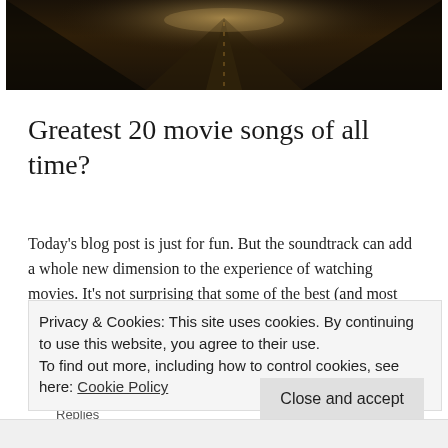[Figure (photo): Dark road stretching into the distance at night, seen from above with dim warm lighting]
Greatest 20 movie songs of all time?
2 Replies
Today's blog post is just for fun. But the soundtrack can add a whole new dimension to the experience of watching movies. It's not surprising that some of the best (and most successful) movies ever made all have cracking soundtracks. Sadly it's something modern filmmakers tend to overlook.
Privacy & Cookies: This site uses cookies. By continuing to use this website, you agree to their use.
To find out more, including how to control cookies, see here: Cookie Policy
Close and accept